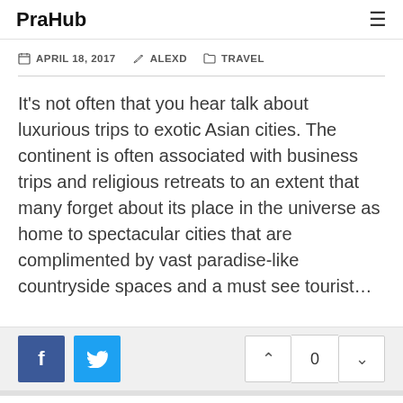PraHub
APRIL 18, 2017   ALEXD   TRAVEL
It's not often that you hear talk about luxurious trips to exotic Asian cities. The continent is often associated with business trips and religious retreats to an extent that many forget about its place in the universe as home to spectacular cities that are complimented by vast paradise-like countryside spaces and a must see tourist…
f  [twitter]  0